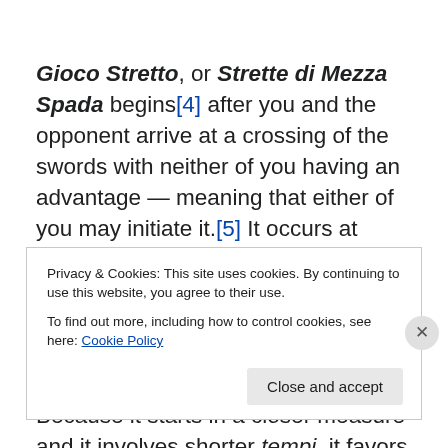Gioco Stretto, or Strette di Mezza Spada begins[4] after you and the opponent arrive at a crossing of the swords with neither of you having an advantage — meaning that either of you may initiate it.[5] It occurs at shorter distances and involves half cuts and half tempi. Bolognese authors make it clear that this is a distinct type of play, often taught separately from the Gioco Largo.[6] Because it starts in a closer measure and it involves shorter tempi, it favors the use of guards that close the line or are held narrowly (Guardie Strette) by keeping the point in-line
Privacy & Cookies: This site uses cookies. By continuing to use this website, you agree to their use.
To find out more, including how to control cookies, see here: Cookie Policy